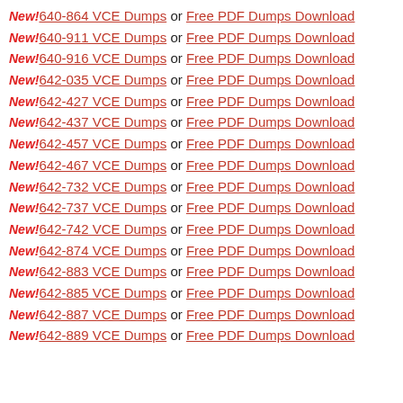New! 640-864 VCE Dumps or Free PDF Dumps Download
New! 640-911 VCE Dumps or Free PDF Dumps Download
New! 640-916 VCE Dumps or Free PDF Dumps Download
New! 642-035 VCE Dumps or Free PDF Dumps Download
New! 642-427 VCE Dumps or Free PDF Dumps Download
New! 642-437 VCE Dumps or Free PDF Dumps Download
New! 642-457 VCE Dumps or Free PDF Dumps Download
New! 642-467 VCE Dumps or Free PDF Dumps Download
New! 642-732 VCE Dumps or Free PDF Dumps Download
New! 642-737 VCE Dumps or Free PDF Dumps Download
New! 642-742 VCE Dumps or Free PDF Dumps Download
New! 642-874 VCE Dumps or Free PDF Dumps Download
New! 642-883 VCE Dumps or Free PDF Dumps Download
New! 642-885 VCE Dumps or Free PDF Dumps Download
New! 642-887 VCE Dumps or Free PDF Dumps Download
New! 642-889 VCE Dumps or Free PDF Dumps Download